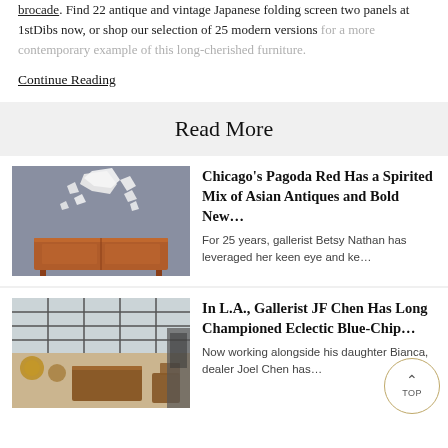brocade. Find 22 antique and vintage Japanese folding screen two panels at 1stDibs now, or shop our selection of 25 modern versions for a more contemporary example of this long-cherished furniture.
Continue Reading
Read More
[Figure (photo): Art installation photo showing white sculptural fragments on a gray wall above a wooden cabinet/furniture piece]
Chicago’s Pagoda Red Has a Spirited Mix of Asian Antiques and Bold New…
For 25 years, gallerist Betsy Nathan has leveraged her keen eye and ke…
[Figure (photo): Interior of a gallery or showroom with large industrial windows, wooden furniture, and various decorative objects]
In L.A., Gallerist JF Chen Has Long Championed Eclectic Blue-Chip…
Now working alongside his daughter Bianca, dealer Joel Chen has…